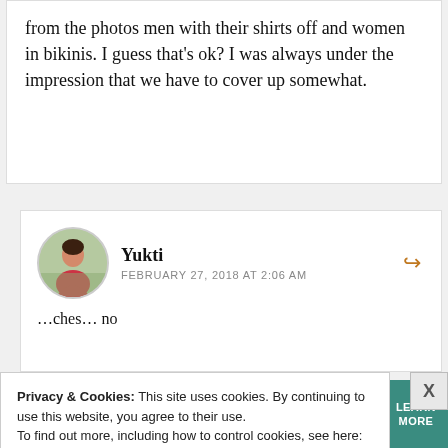from the photos men with their shirts off and women in bikinis. I guess that's ok? I was always under the impression that we have to cover up somewhat.
Yukti
FEBRUARY 27, 2018 AT 2:06 AM
…ches… no
Privacy & Cookies: This site uses cookies. By continuing to use this website, you agree to their use.
To find out more, including how to control cookies, see here: Cookie Policy
[Figure (infographic): SHE Media Partner Network advertisement banner: Earning site & social revenue, with a woman's photo, SHE logo, LEARN MORE button]